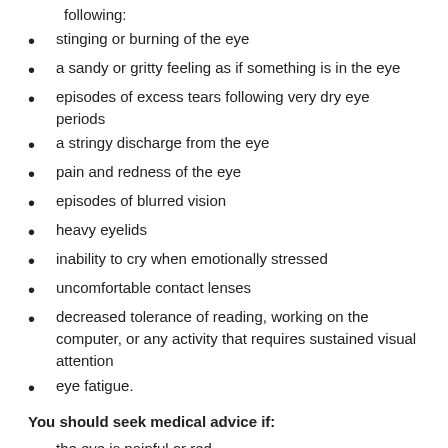following:
stinging or burning of the eye
a sandy or gritty feeling as if something is in the eye
episodes of excess tears following very dry eye periods
a stringy discharge from the eye
pain and redness of the eye
episodes of blurred vision
heavy eyelids
inability to cry when emotionally stressed
uncomfortable contact lenses
decreased tolerance of reading, working on the computer, or any activity that requires sustained visual attention
eye fatigue.
You should seek medical advice if:
the eye is painful or red
it is harder to see well or your vision is blurred